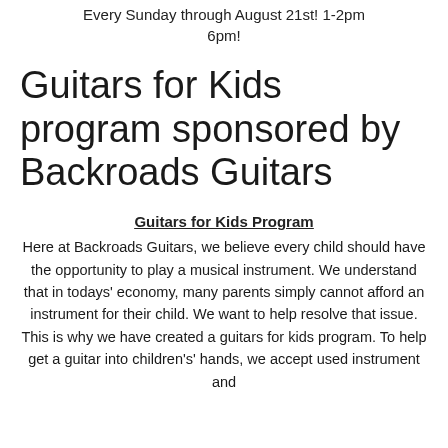Every Sunday through August 21st! 1-2pm 6pm!
Guitars for Kids program sponsored by Backroads Guitars
Guitars for Kids Program
Here at Backroads Guitars, we believe every child should have the opportunity to play a musical instrument. We understand that in todays' economy, many parents simply cannot afford an instrument for their child. We want to help resolve that issue. This is why we have created a guitars for kids program. To help get a guitar into children's' hands, we accept used instrument and